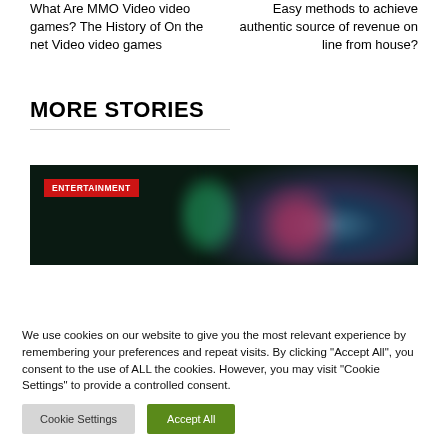What Are MMO Video video games? The History of On the net Video video games
Easy methods to achieve authentic source of revenue on line from house?
MORE STORIES
[Figure (photo): Dark entertainment image with blurred colorful graphic and red ENTERTAINMENT label badge]
We use cookies on our website to give you the most relevant experience by remembering your preferences and repeat visits. By clicking "Accept All", you consent to the use of ALL the cookies. However, you may visit "Cookie Settings" to provide a controlled consent.